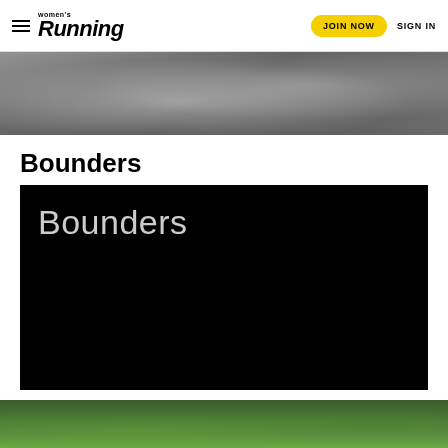women's Running | JOIN NOW | SIGN IN
[Figure (photo): Outdoor running scene, partially visible at top of page, dark tones]
Bounders
[Figure (screenshot): Black video panel with white text reading 'Bounders']
[Figure (photo): Outdoor scene with green trees, partially visible at bottom of page]